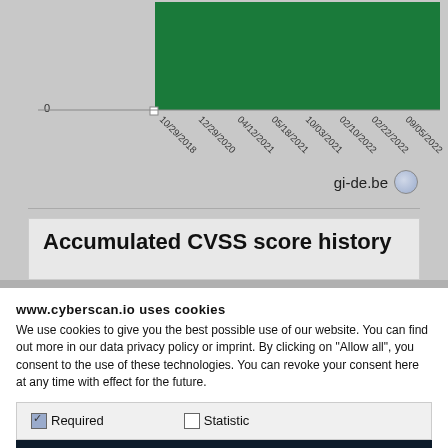[Figure (area-chart): Area chart showing accumulated CVSS score history with a green filled area, starting at 0 in 10/29/2018 and rising sharply near 04/12/2021]
gi-de.be
Accumulated CVSS score history
www.cyberscan.io uses cookies
We use cookies to give you the best possible use of our website. You can find out more in our data privacy policy or imprint. By clicking on "Allow all", you consent to the use of these technologies. You can revoke your consent here at any time with effect for the future.
Required   Statistic
More details
Accept selected cookies
Accept all cookies